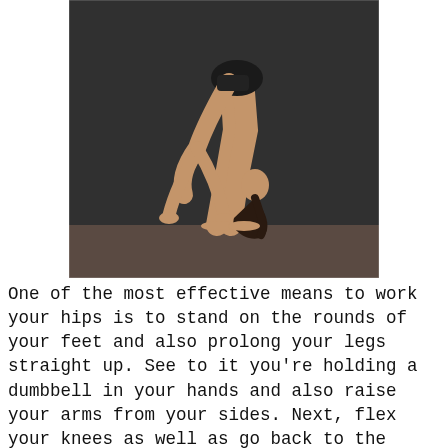[Figure (photo): A woman performing a standing forward bend (yoga/stretching pose), bent completely forward at the hips with hands touching the floor, against a dark background on a mat.]
One of the most effective means to work your hips is to stand on the rounds of your feet and also prolong your legs straight up. See to it you're holding a dumbbell in your hands and also raise your arms from your sides. Next, flex your knees as well as go back to the standing placement. Repeat this